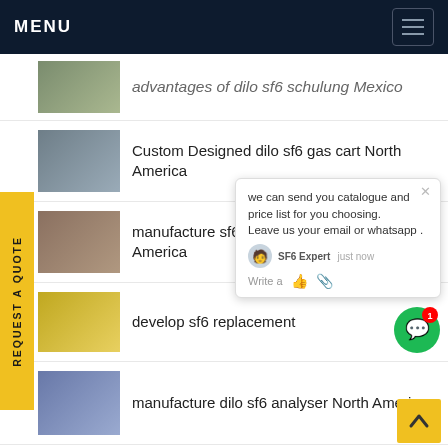MENU
advantages of dilo sf6 schulung Mexico
Custom Designed dilo sf6 gas cart North America
manufacture sf6 gas service equipment North America
develop sf6 replacement
manufacture dilo sf6 analyser North America
Custom Designed crompton greaves gas circuit breaker India